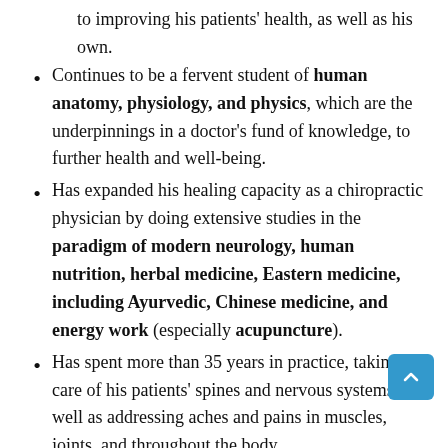to improving his patients' health, as well as his own.
Continues to be a fervent student of human anatomy, physiology, and physics, which are the underpinnings in a doctor's fund of knowledge, to further health and well-being.
Has expanded his healing capacity as a chiropractic physician by doing extensive studies in the paradigm of modern neurology, human nutrition, herbal medicine, Eastern medicine, including Ayurvedic, Chinese medicine, and energy work (especially acupuncture).
Has spent more than 35 years in practice, taking care of his patients' spines and nervous systems, as well as addressing aches and pains in muscles, joints, and throughout the body.
Is versed in accelerated healing and pain relief via ultra-modern equipment, such as the (painless) cold low-level energy LASER.